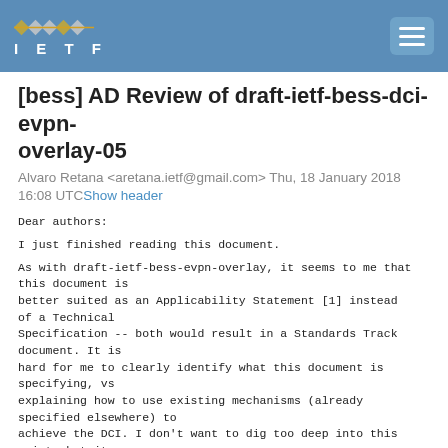IETF
[bess] AD Review of draft-ietf-bess-dci-evpn-overlay-05
Alvaro Retana <aretana.ietf@gmail.com> Thu, 18 January 2018 16:08 UTCShow header
Dear authors:

I just finished reading this document.

As with draft-ietf-bess-evpn-overlay, it seems to me that this document is
better suited as an Applicability Statement [1] instead of a Technical
Specification -- both would result in a Standards Track document.  It is
hard for me to clearly identify what this document is specifying, vs
explaining how to use existing mechanisms (already specified elsewhere) to
achieve the DCI.  I don't want to dig too deep into this point, but it
would be nice if you at least considered refocusing the